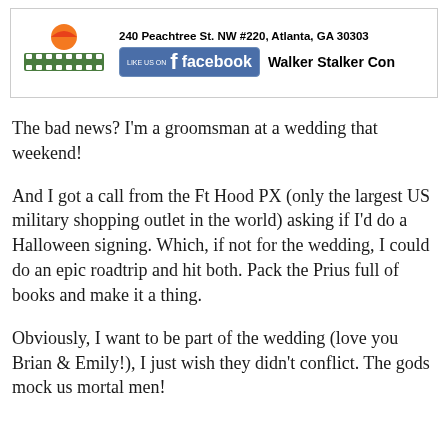[Figure (advertisement): Atlanta Movie Tours advertisement with address 240 Peachtree St. NW #220, Atlanta, GA 30303, Facebook like button, and Walker Stalker Con text]
The bad news? I'm a groomsman at a wedding that weekend!
And I got a call from the Ft Hood PX (only the largest US military shopping outlet in the world) asking if I'd do a Halloween signing. Which, if not for the wedding, I could do an epic roadtrip and hit both. Pack the Prius full of books and make it a thing.
Obviously, I want to be part of the wedding (love you Brian & Emily!), I just wish they didn't conflict. The gods mock us mortal men!